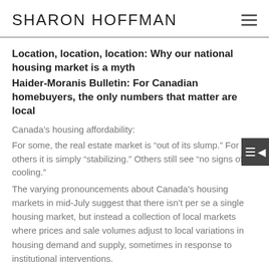SHARON HOFFMAN
Location, location, location: Why our national housing market is a myth
Haider-Moranis Bulletin: For Canadian homebuyers, the only numbers that matter are local
Canada’s housing affordability:
For some, the real estate market is “out of its slump.” For others it is simply “stabilizing.” Others still see “no signs of cooling.”
The varying pronouncements about Canada’s housing markets in mid-July suggest that there isn’t per se a single housing market, but instead a collection of local markets where prices and sale volumes adjust to local variations in housing demand and supply, sometimes in response to institutional interventions.